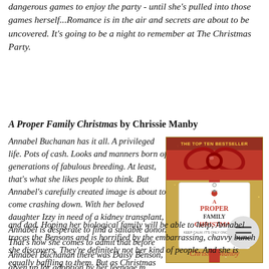dangerous games to enjoy the party - until she's pulled into those games herself...Romance is in the air and secrets are about to be uncovered. It's going to be a night to remember at The Christmas Party.
A Proper Family Christmas by Chrissie Manby
Annabel Buchanan has it all. A privileged life. Pots of cash. Looks and manners born of generations of fabulous breeding. At least, that's what she likes people to think. But Annabel's carefully created image is about to come crashing down. With her beloved daughter Izzy in need of a kidney transplant, Annabel is desperate to find a suitable donor. That's how she comes to admit that before Annabel Buchanan there was Daisy Benson, given up for adoption by her teenage m and dad. Hoping her biological family will be able to help, Annabel traces the Bensons and is horrified by the embarrassing, chavvy bunch she discovers. They're definitely not her kind of people. And she is equally baffling to them. But as Christmas
[Figure (illustration): Book cover of 'A Proper Family Christmas' by Chrissie Manby. Gold glittery background with a large red bow at the top. A white gift tag in the center reads 'A Proper Family Christmas' in red and dark text. At the bottom it says 'Chrissie Manby' in red cursive script. Top banner reads 'THE TOP TEN BESTSELLER'.]